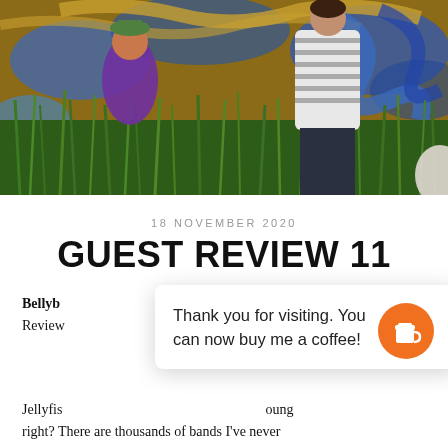[Figure (photo): Colorful photo of people (children/performers) in a field with green tall grass and a vibrant mural background with blue swirling patterns. One person wears a striped shirt, another wears purple. A yellow flower is visible in the grass.]
18 NOVEMBER 2020
GUEST REVIEW 11
Bellyb
Review
Thank you for visiting. You can now buy me a coffee!
Jellyfis…oung right? There are thousands of bands I've never